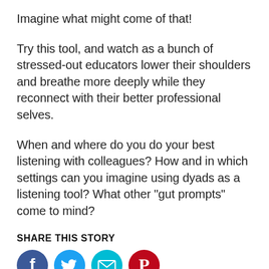Imagine what might come of that!
Try this tool, and watch as a bunch of stressed-out educators lower their shoulders and breathe more deeply while they reconnect with their better professional selves.
When and where do you do your best listening with colleagues? How and in which settings can you imagine using dyads as a listening tool? What other "gut prompts" come to mind?
SHARE THIS STORY
[Figure (other): Four social media icon circles: Facebook (blue), Twitter (blue), Email/envelope (teal), Pinterest (red)]